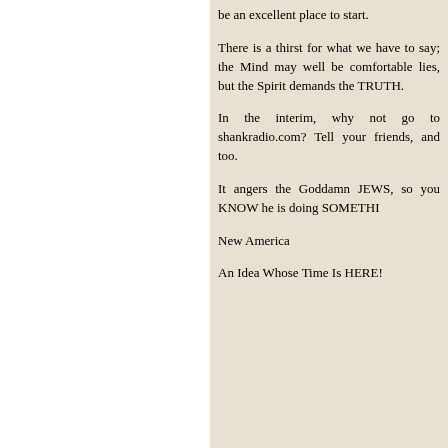be an excellent place to start.
There is a thirst for what we have to say; the Mind may well be comfortable lies, but the Spirit demands the TRUTH.
In the interim, why not go to shankradio.com? Tell your friends, and too.
It angers the Goddamn JEWS, so you KNOW he is doing SOMETHI
New America
An Idea Whose Time Is HERE!
Rhoda Dentrum Says:
19 December, 2006 at 10:13 am
Can you belive this fucking shit or not? Is it really possible that there over here and jews over there? Could it be the jew over there is bi here that feeds it? Damn this brings on a whole new set of posi should this be true prodiving this is not just some bullshit to make it a to avoid looking like jews all stick together. We know about the jew s may be an idea to keep an eye on shit like this.
Maybe jews will turn on jews. We know jews over here have been th suspect the American jew will get her a jew lawyer and make a suffering out of this and who knows it might all be a rigged set up w loot. You cant put anything past jews or apes or Bushs or his C psychopathically and many believe their own lies making it twice as